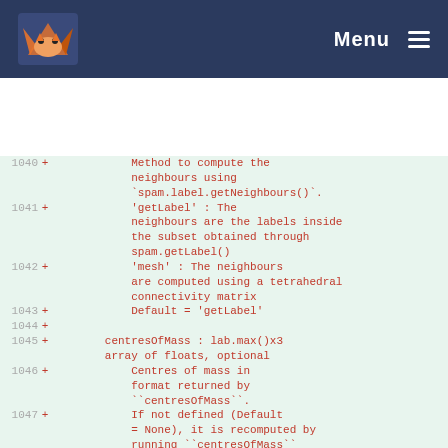Menu
[Figure (screenshot): Code diff view showing lines 1040-1048 of a Python source file with additions marked with + in red monospace font on a light green background. Lines show documentation strings for getLabel, mesh, centresOfMass parameters.]